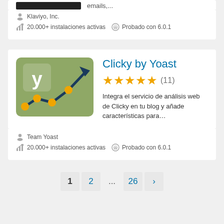emails,...
Klaviyo, Inc.
20.000+ instalaciones activas  Probado con 6.0.1
[Figure (logo): Clicky by Yoast plugin logo - green rounded square with Yoast Y symbol and a line chart going up with orange dots]
Clicky by Yoast
★★★★★ (11)
Integra el servicio de análisis web de Clicky en tu blog y añade características para...
Team Yoast
20.000+ instalaciones activas  Probado con 6.0.1
1
2
...
26
›